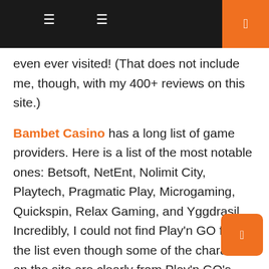navigation header with icons
even ever visited! (That does not include me, though, with my 400+ reviews on this site.)
Bambet Casino has a long list of game providers. Here is a list of the most notable ones: Betsoft, NetEnt, Nolimit City, Playtech, Pragmatic Play, Microgaming, Quickspin, Relax Gaming, and Yggdrasil. Incredibly, I could not find Play'n GO from the list even though some of the characters on the site are clearly from Play'n GO's games. While this might be due to some area restrictions, it is quite weird to have those characters featured on the site when at least some players cannot play the games where they have been taken from.
I have said it before and I will say it again: I would wish for Dama casinos such as Bambet Casino to feature a European